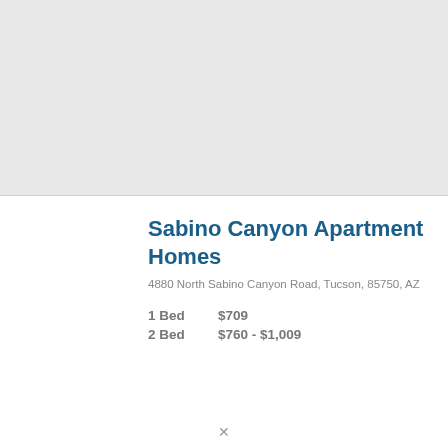[Figure (photo): Gray placeholder area for apartment property photo]
Sabino Canyon Apartment Homes
4880 North Sabino Canyon Road, Tucson, 85750, AZ
| 1 Bed | $709 |
| 2 Bed | $760 - $1,009 |